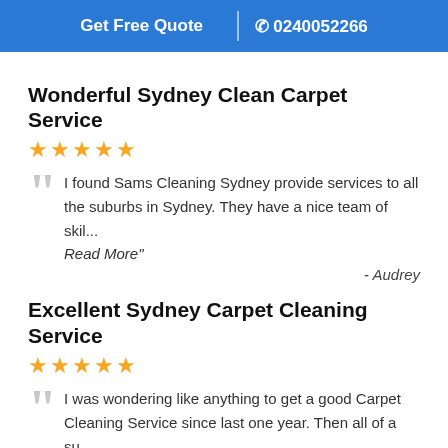Get Free Quote | 0240052266
Wonderful Sydney Clean Carpet Service
★★★★★
I found Sams Cleaning Sydney provide services to all the suburbs in Sydney. They have a nice team of skil... Read More"
- Audrey
Excellent Sydney Carpet Cleaning Service
★★★★★
I was wondering like anything to get a good Carpet Cleaning Service since last one year. Then all of a su... Read More"
- Pipe